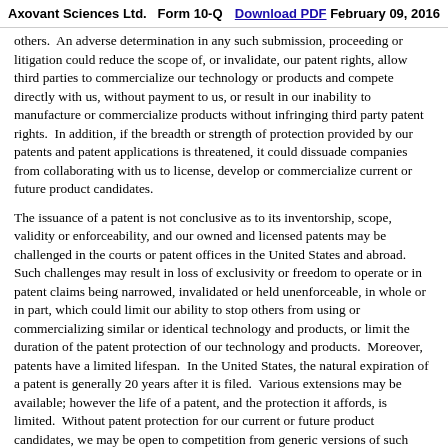Axovant Sciences Ltd.   Form 10-Q   Download PDF   February 09, 2016
others.  An adverse determination in any such submission, proceeding or litigation could reduce the scope of, or invalidate, our patent rights, allow third parties to commercialize our technology or products and compete directly with us, without payment to us, or result in our inability to manufacture or commercialize products without infringing third party patent rights.  In addition, if the breadth or strength of protection provided by our patents and patent applications is threatened, it could dissuade companies from collaborating with us to license, develop or commercialize current or future product candidates.
The issuance of a patent is not conclusive as to its inventorship, scope, validity or enforceability, and our owned and licensed patents may be challenged in the courts or patent offices in the United States and abroad.  Such challenges may result in loss of exclusivity or freedom to operate or in patent claims being narrowed, invalidated or held unenforceable, in whole or in part, which could limit our ability to stop others from using or commercializing similar or identical technology and products, or limit the duration of the patent protection of our technology and products.  Moreover, patents have a limited lifespan.  In the United States, the natural expiration of a patent is generally 20 years after it is filed.  Various extensions may be available; however the life of a patent, and the protection it affords, is limited.  Without patent protection for our current or future product candidates, we may be open to competition from generic versions of such products.  Given the amount of time required for the development, testing and regulatory review of new product candidates, patents protecting such candidates might expire before or shortly after such candidates are commercialized.  As a result, our owned and licensed patent portfolio may not provide us with sufficient rights to exclude others from commercializing